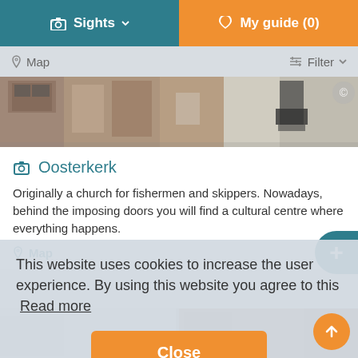Sights  |  My guide (0)
Map  |  Filter
[Figure (photo): Partial view of a historic building facade with brick and stone details]
Oosterkerk
Originally a church for fishermen and skippers. Nowadays, behind the imposing doors you will find a cultural centre where everything happens.
Map
This website uses cookies to increase the user experience. By using this website you agree to this  Read more
Close
[Figure (photo): Bottom strip showing partial view of historic buildings]